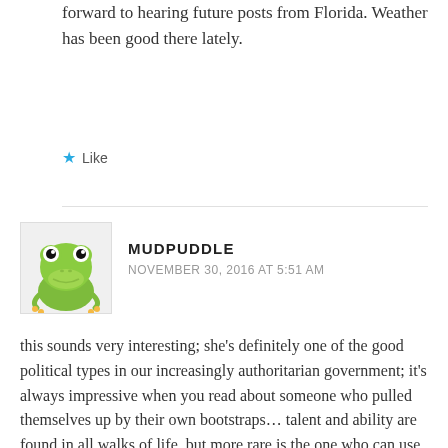forward to hearing future posts from Florida. Weather has been good there lately.
Like
MUDPUDDLE
NOVEMBER 30, 2016 AT 5:51 AM
this sounds very interesting; she's definitely one of the good political types in our increasingly authoritarian government; it's always impressive when you read about someone who pulled themselves up by their own bootstraps… talent and ability are found in all walks of life, but more rare is the one who can use those qualities to make a difference…